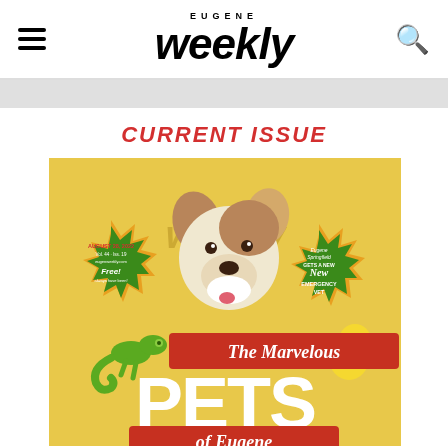Eugene Weekly
CURRENT ISSUE
[Figure (illustration): Eugene Weekly magazine cover featuring illustrated animals (dog, chameleon, chick) with text 'The Marvelous PETS of Eugene' on a golden background with green starburst badges]